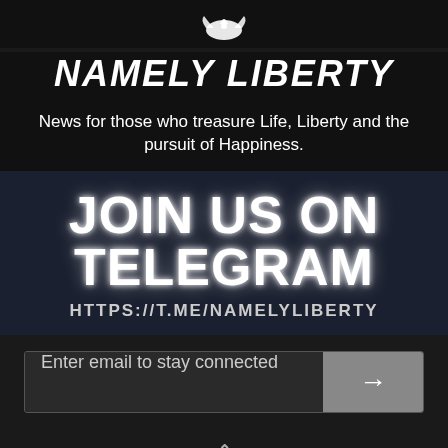[Figure (logo): Eagle logo icon in white on dark background]
NAMELY LIBERTY
News for those who treasure Life, Liberty and the pursuit of Happiness.
JOIN US ON TELEGRAM
HTTPS://T.ME/NAMELYLIBERTY
Enter email to stay connected
Follow @2ndfor1st
[Figure (logo): Namely Liberty logo with eagle, shown as channel thumbnail]
NAMELY LIBERTY
YouTube  1K